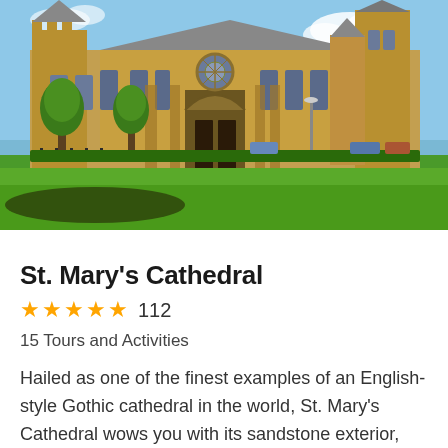[Figure (photo): Exterior photograph of St. Mary's Cathedral, Sydney — a large English Gothic-style sandstone cathedral with tall spires, rose window, and green lawn in the foreground under a blue sky.]
St. Mary's Cathedral
★★★★★ 112
15 Tours and Activities
Hailed as one of the finest examples of an English-style Gothic cathedral in the world, St. Mary's Cathedral wows you with its sandstone exterior,